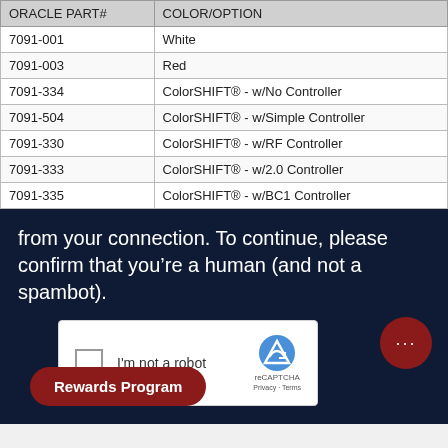| ORACLE PART# | COLOR/OPTION |
| --- | --- |
| 7091-001 | White |
| 7091-003 | Red |
| 7091-334 | ColorSHIFT® - w/No Controller |
| 7091-504 | ColorSHIFT® - w/Simple Controller |
| 7091-330 | ColorSHIFT® - w/RF Controller |
| 7091-333 | ColorSHIFT® - w/2.0 Controller |
| 7091-335 | ColorSHIFT® - w/BC1 Controller |
[Figure (screenshot): A CAPTCHA verification overlay on a dark navy background. Text reads 'from your connection. To continue, please confirm that you're a human (and not a spambot).' A reCAPTCHA widget with checkbox 'I'm not a robot' is shown. A dark red chat bubble and a 'Rewards Program' button are visible.]